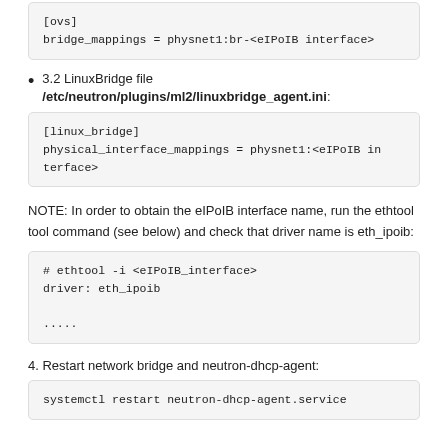[ovs]
bridge_mappings = physnet1:br-<eIPoIB interface>
3.2 LinuxBridge file /etc/neutron/plugins/ml2/linuxbridge_agent.ini:
[linux_bridge]
physical_interface_mappings = physnet1:<eIPoIB interface>
NOTE: In order to obtain the eIPoIB interface name, run the ethtool tool command (see below) and check that driver name is eth_ipoib:
# ethtool -i <eIPoIB_interface>
driver: eth_ipoib
.....
4. Restart network bridge and neutron-dhcp-agent:
systemctl restart neutron-dhcp-agent.service